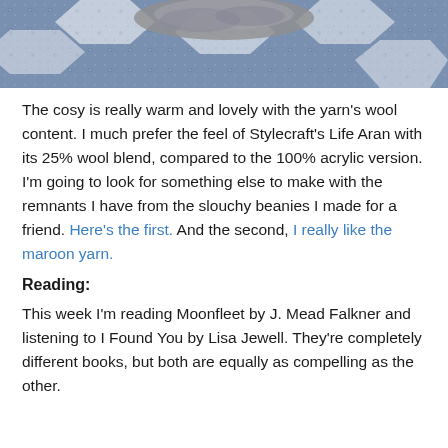[Figure (photo): Close-up photo of a blue and grey patchwork quilt/fabric with hexagonal pattern and small floral prints, with a grey yarn or knitted item visible at the top.]
The cosy is really warm and lovely with the yarn's wool content. I much prefer the feel of Stylecraft's Life Aran with its 25% wool blend, compared to the 100% acrylic version. I'm going to look for something else to make with the remnants I have from the slouchy beanies I made for a friend. Here's the first. And the second, I really like the maroon yarn.
Reading:
This week I'm reading Moonfleet by J. Mead Falkner and listening to I Found You by Lisa Jewell. They're completely different books, but both are equally as compelling as the other.